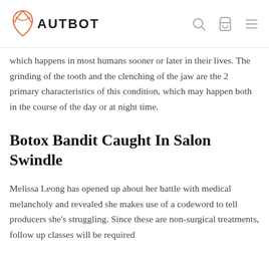AUTBOT
which happens in most humans sooner or later in their lives. The grinding of the tooth and the clenching of the jaw are the 2 primary characteristics of this condition, which may happen both in the course of the day or at night time.
Botox Bandit Caught In Salon Swindle
Melissa Leong has opened up about her battle with medical melancholy and revealed she makes use of a codeword to tell producers she's struggling. Since these are non-surgical treatments, follow up classes will be required